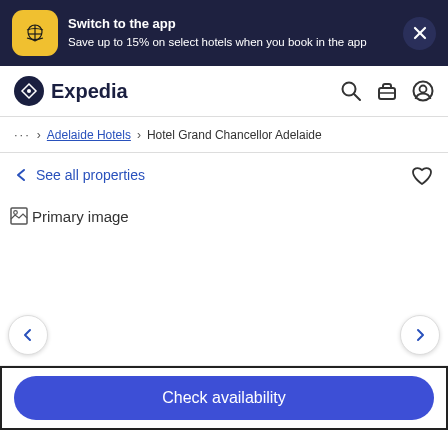[Figure (screenshot): Expedia app promotion banner with yellow airplane icon on dark navy background. Text: Switch to the app / Save up to 15% on select hotels when you book in the app. Close X button on the right.]
[Figure (logo): Expedia logo with dark navy circle airplane icon and bold Expedia wordmark. Navigation icons: search, briefcase, user profile.]
... > Adelaide Hotels > Hotel Grand Chancellor Adelaide
← See all properties
[Figure (photo): Primary image placeholder for Hotel Grand Chancellor Adelaide]
Check availability